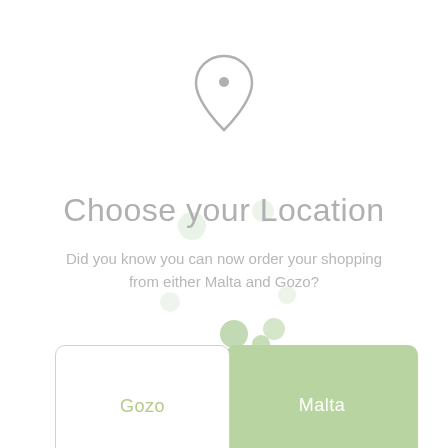[Figure (illustration): A map location pin icon (outline only, light gray) centered near the top of the page]
Choose your Location
Did you know you can now order your shopping from either Malta and Gozo?
[Figure (illustration): Two location option cards side by side: 'Gozo' in a white outlined card and 'Malta' in a green filled card, with decorative green dots above them]